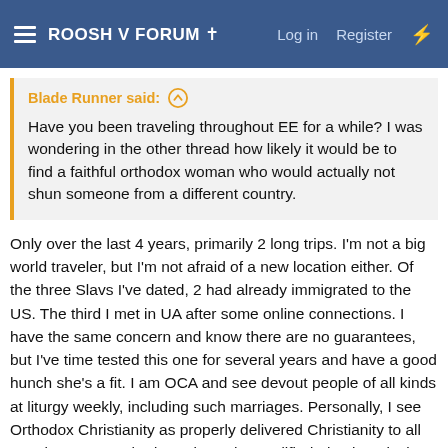ROOSH V FORUM †  Log in  Register
Blade Runner said: ↑
Have you been traveling throughout EE for a while? I was wondering in the other thread how likely it would be to find a faithful orthodox woman who would actually not shun someone from a different country.
Only over the last 4 years, primarily 2 long trips. I'm not a big world traveler, but I'm not afraid of a new location either. Of the three Slavs I've dated, 2 had already immigrated to the US. The third I met in UA after some online connections. I have the same concern and know there are no guarantees, but I've time tested this one for several years and have a good hunch she's a fit. I am OCA and see devout people of all kinds at liturgy weekly, including such marriages. Personally, I see Orthodox Christianity as properly delivered Christianity to all people. It was Orthodox Priests that codified Aleutian Alaskan language. Orthodox Priests created Church Slavonic to witness to the Slavs. I am aware of some of the contradictions between the EO branches, but I am resource limited where I live, so I go where I